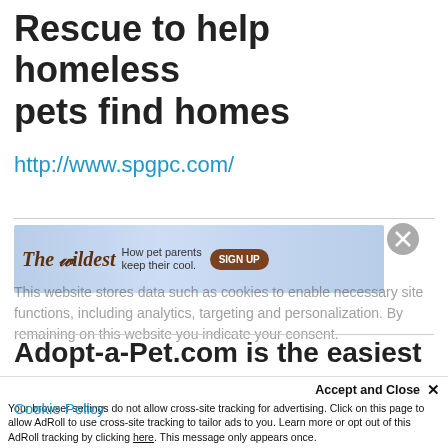Rescue to help homeless pets find homes
http://www.spgpc.com/
[Figure (infographic): The Wildest ad banner: 'How pet parents keep their cool.' with a SIGN UP button, light blue gradient background]
This website stores data such as cookies to enable necessary site functions, including analytics, targeting and personalization. By remaining on this website you indicate your consent.
Adopt-a-Pet.com is the easiest way
Cookie Policy
Your browser settings do not allow cross-site tracking for advertising. Click on this page to allow AdRoll to use cross-site tracking to tailor ads to you. Learn more or opt out of this AdRoll tracking by clicking here. This message only appears once.